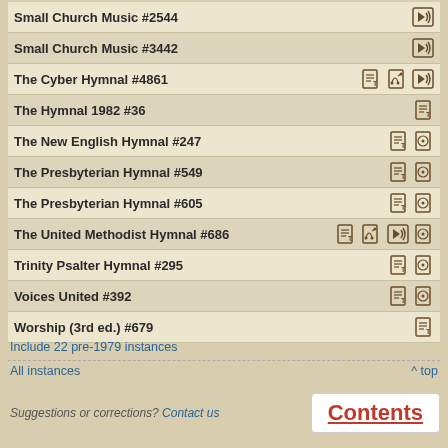| Hymnal | Icons |
| --- | --- |
| Small Church Music #2544 | audio |
| Small Church Music #3442 | audio |
| The Cyber Hymnal #4861 | text, music, audio |
| The Hymnal 1982 #36 | text |
| The New English Hymnal #247 | text, image |
| The Presbyterian Hymnal #549 | text, image |
| The Presbyterian Hymnal #605 | text, image |
| The United Methodist Hymnal #686 | text, music, audio, image |
| Trinity Psalter Hymnal #295 | text, image |
| Voices United #392 | text, image |
| Worship (3rd ed.) #679 | text |
Include 22 pre-1979 instances
All instances
^ top
Suggestions or corrections? Contact us
Contents